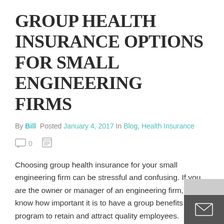GROUP HEALTH INSURANCE OPTIONS FOR SMALL ENGINEERING FIRMS
By Bill  Posted January 4, 2017 In Blog, Health Insurance
Choosing group health insurance for your small engineering firm can be stressful and confusing. If you are the owner or manager of an engineering firm, you know how important it is to have a group benefits program to retain and attract quality employees.
Many engineering firms offer health insurance to their employees as part of a complete benefits package which